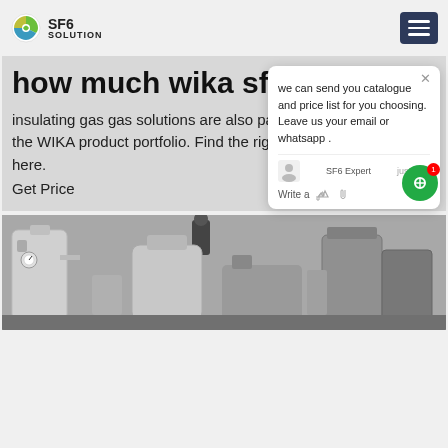SF6 SOLUTION
how much wika sf6 India
insulating gas gas solutions are also part of the WIKA product portfolio. Find the right you here.
Get Price
[Figure (screenshot): Chat popup widget showing message: 'we can send you catalogue and price list for you choosing. Leave us your email or whatsapp.' with SF6 Expert label and 'just now' timestamp, with Write a message input and like/attachment icons. Green chat bubble button with badge showing 1.]
[Figure (photo): Industrial machinery photo showing SF6 gas equipment, tanks and industrial devices, with a person standing on the equipment.]